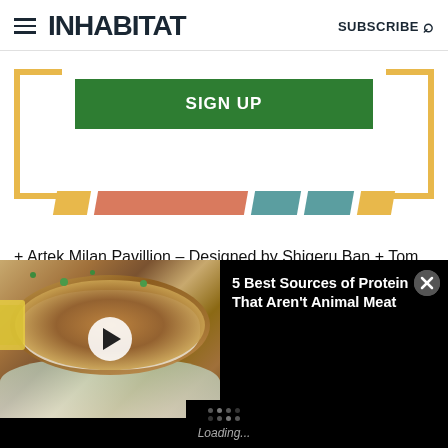INHABITAT  SUBSCRIBE
[Figure (infographic): Sign Up button with gold bracket decorations and colorful banner strips]
+ Artek Milan Pavillion – Designed by Shigeru Ban + Tom Dixon on Artek Video
[Figure (screenshot): Video overlay bar showing food dish thumbnail with play button, title '5 Best Sources of Protein That Aren't Animal Meat', close button, and Loading... spinner]